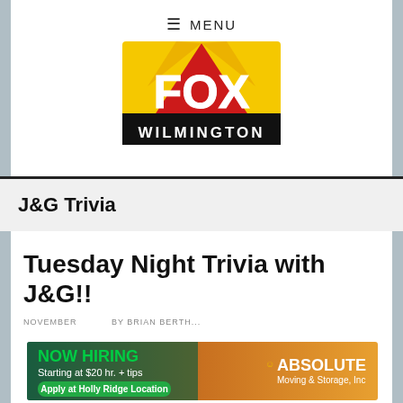≡ MENU
[Figure (logo): FOX Wilmington logo — yellow and red sunburst background with large white FOX letters and WILMINGTON text below on black bar]
J&G Trivia
Tuesday Night Trivia with J&G!!
NOVEMBER ... BY BRIAN BERTH...
[Figure (photo): Advertisement banner: NOW HIRING Starting at $20 hr. + tips, Apply at Holly Ridge Location, ABSOLUTE Moving & Storage, Inc]